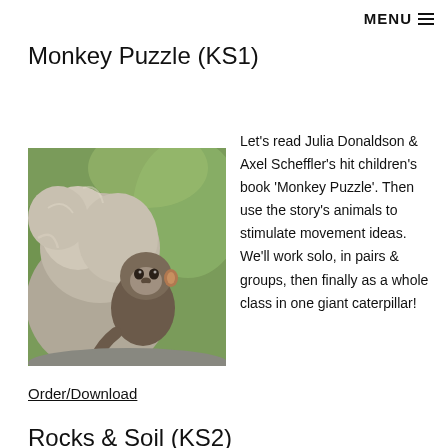MENU
Monkey Puzzle (KS1)
[Figure (photo): A young baby monkey clinging to an adult monkey, photographed outdoors with green blurred background]
Let's read Julia Donaldson & Axel Scheffler's hit children's book 'Monkey Puzzle'. Then use the story's animals to stimulate movement ideas.  We'll work solo, in pairs & groups, then finally as a whole class in one giant caterpillar!
Order/Download
Rocks & Soil (KS2)